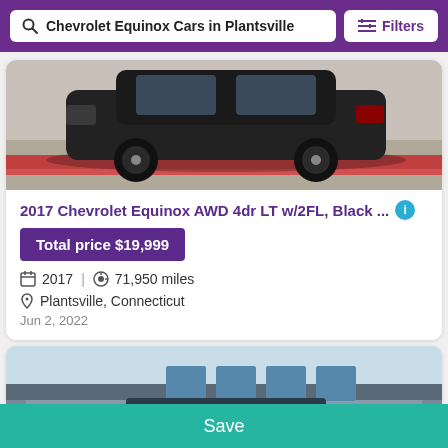Chevrolet Equinox Cars in Plantsville | Filters
[Figure (photo): Dark colored Chevrolet Equinox SUV photographed from the front-side angle in a parking lot with a red curb, partially cropped.]
2017 Chevrolet Equinox AWD 4dr LT w/2FL, Black ...
Total price $19,999
2017  |  71,950 miles
Plantsville, Connecticut
Jun 2, 2022
[Figure (photo): Exterior photo of a car dealership building with a sign reading Auto House, seen from outside.]
Save